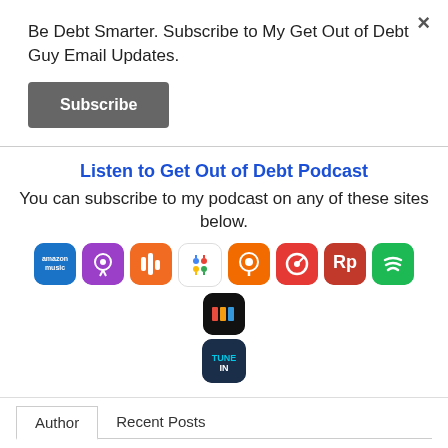Be Debt Smarter. Subscribe to My Get Out of Debt Guy Email Updates.
Subscribe
Listen to Get Out of Debt Podcast
You can subscribe to my podcast on any of these sites below.
[Figure (infographic): Row of podcast platform icons: Amazon Music, Apple Podcasts, Castbox, Google Podcasts, Overcast, Pocket Casts, RadioPublic, Spotify, Podchaser; second row: TuneIn]
Author
Recent Posts
Steve Rhode
Steve Rhode is the
Follow Me